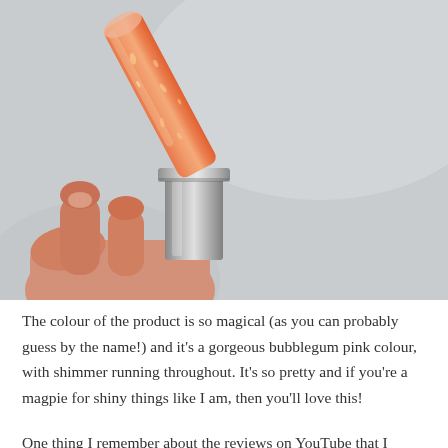[Figure (photo): A close-up photo of a hand holding an open lipstick tube. The lipstick bullet is a shimmery peach/coral-pink colour with glitter shimmer running throughout. The tube has a silver metallic casing. The background is a light grey/white.]
The colour of the product is so magical (as you can probably guess by the name!) and it's a gorgeous bubblegum pink colour, with shimmer running throughout. It's so pretty and if you're a magpie for shiny things like I am, then you'll love this!
One thing I remember about the reviews on YouTube that I watched was